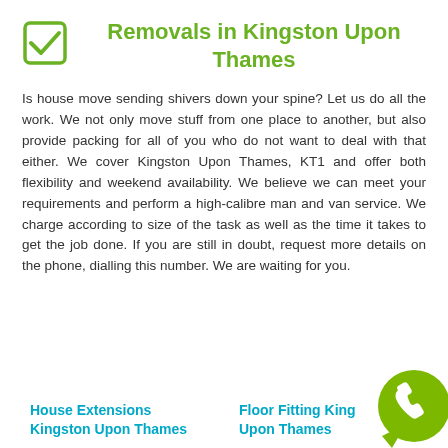Removals in Kingston Upon Thames
Is house move sending shivers down your spine? Let us do all the work. We not only move stuff from one place to another, but also provide packing for all of you who do not want to deal with that either. We cover Kingston Upon Thames, KT1 and offer both flexibility and weekend availability. We believe we can meet your requirements and perform a high-calibre man and van service. We charge according to size of the task as well as the time it takes to get the job done. If you are still in doubt, request more details on the phone, dialling this number. We are waiting for you.
House Extensions Kingston Upon Thames
Floor Fitting Kingston Upon Thames
[Figure (illustration): Green speech bubble with white telephone handset icon, bottom-right corner]